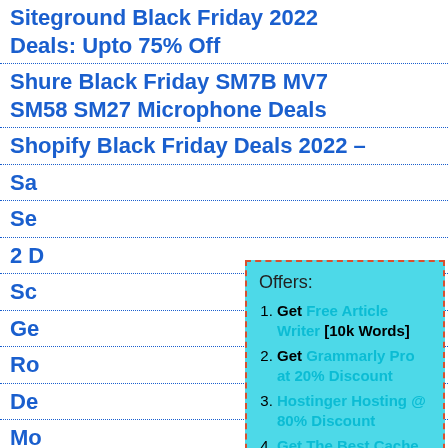Siteground Black Friday 2022 Deals: Upto 75% Off
Shure Black Friday SM7B MV7 SM58 SM27 Microphone Deals
Shopify Black Friday Deals 2022 – Sa...
Se...
2 D...
Sc...
Ge...
Ro...
De...
Mo...
Ri...
20...
Ri...
D...
[Figure (screenshot): Popup box with cyan background and dashed red border showing 'Offers:' heading and 4 numbered list items: 1. Get Free Article Writer [10k Words], 2. Get Grammarly Pro at 20% Discount, 3. Hostinger Hosting @ 80% Discount, 4. Get The Best Cache Plugin. Close button (×) in top right.]